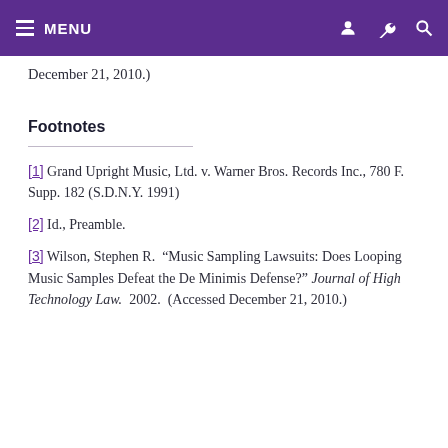MENU
December 21, 2010.)
Footnotes
[1] Grand Upright Music, Ltd. v. Warner Bros. Records Inc., 780 F. Supp. 182 (S.D.N.Y. 1991)
[2] Id., Preamble.
[3] Wilson, Stephen R. “Music Sampling Lawsuits: Does Looping Music Samples Defeat the De Minimis Defense?” Journal of High Technology Law. 2002. (Accessed December 21, 2010.)